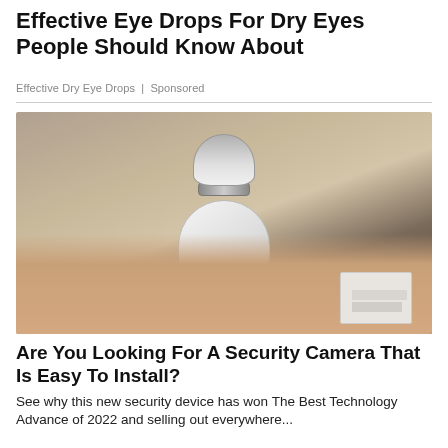Effective Eye Drops For Dry Eyes People Should Know About
Effective Dry Eye Drops | Sponsored
[Figure (photo): A hand holding a white security camera shaped like a light bulb, with a circular lens housing and LED lights on the front, being held up against a background of wooden shelving and boxes.]
Are You Looking For A Security Camera That Is Easy To Install?
See why this new security device has won The Best Technology Advance of 2022 and selling out everywhere...